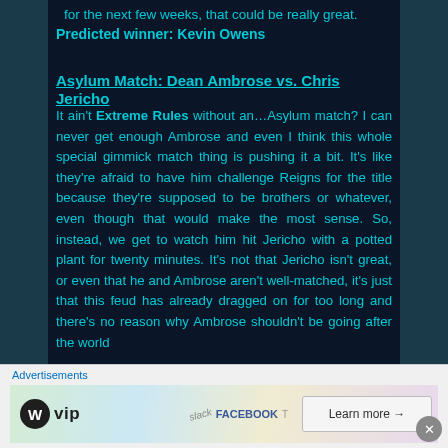for the next few weeks, that could be really great.
Predicted winner: Kevin Owens
Asylum Match: Dean Ambrose vs. Chris Jericho
It ain't Extreme Rules without an…Asylum match? I can never get enough Ambrose and even I think this whole special gimmick match thing is pushing it a bit. It's like they're afraid to have him challenge Reigns for the title because they're supposed to be brothers or whatever, even though that would make the most sense. So, instead, we get to watch him hit Jericho with a potted plant for twenty minutes. It's not that Jericho isn't great, or even that he and Ambrose aren't well-matched, it's just that this feud has already dragged on for too long and there's no reason why Ambrose shouldn't be going after the world
[Figure (screenshot): WordPress VIP advertisement banner with 'Learn more' button and various brand logos including Slack and Facebook]
Advertisements